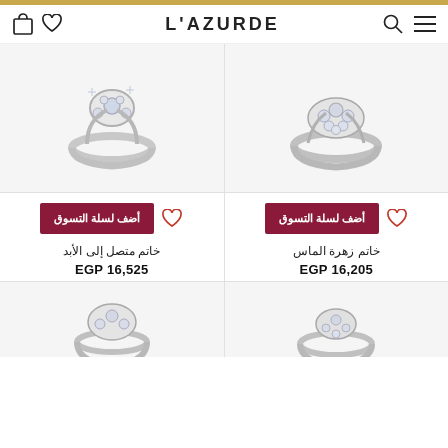L'AZURDE
[Figure (photo): White gold diamond ring with floral design - left product]
[Figure (photo): White gold diamond ring - right product]
أضف لسلة التسوق
أضف لسلة التسوق
خاتم متصل إلى الأبد
EGP 16,525
خاتم زهرة الماس
EGP 16,205
[Figure (photo): White gold ring - bottom left]
[Figure (photo): White gold ring - bottom right]